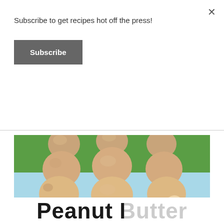Subscribe to get recipes hot off the press!
Subscribe
[Figure (photo): Stack of peanut butter balls/bites arranged in pyramid stacks on a light blue surface with green background. One ball is broken open showing interior texture. Warm beige-tan colored round dough balls.]
Peanut Butter